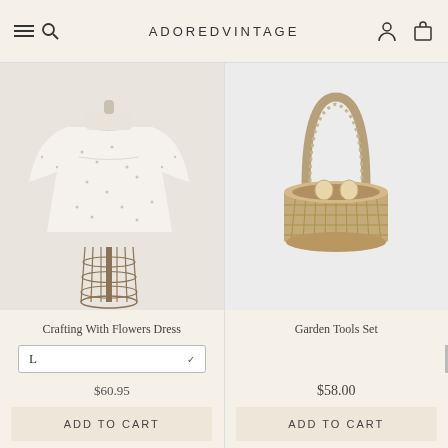ADOREDVINTAGE
[Figure (photo): White floral mini dress on a wire dress form/mannequin, photographed on light grey background]
Crafting With Flowers Dress
L
$60.95
ADD TO CART
[Figure (photo): Woven seagrass basket bag with tall arched handle and small wooden knobs, photographed on white background]
Garden Tools Set
$58.00
ADD TO CART